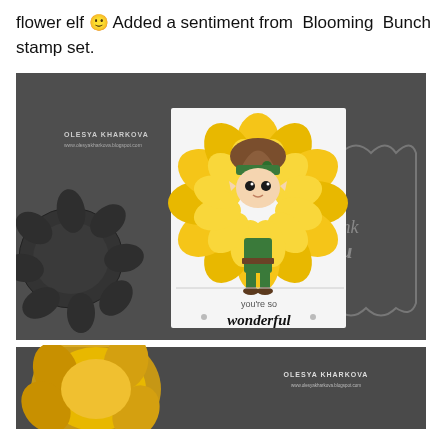flower elf 🙂 Added a sentiment from Blooming Bunch stamp set.
[Figure (photo): A crafted greeting card featuring a cute cartoon elf dressed in a yellow flower/sunflower costume with a brown pointed hat and green collar. The elf stands on a white card with the sentiment 'you're so wonderful' written in script lettering at the bottom. The card is photographed on a dark grey textured background alongside rubber stamp dies. Watermark reads OLESYA KHARKOVA with a website URL.]
[Figure (photo): Partial bottom image showing yellow flower petals colored in yellow/gold tones on a dark grey background, with the OLESYA KHARKOVA watermark visible in the top right corner.]